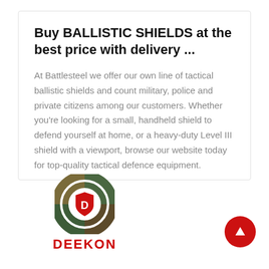Buy BALLISTIC SHIELDS at the best price with delivery ...
At Battlesteel we offer our own line of tactical ballistic shields and count military, police and private citizens among our customers. Whether you're looking for a small, handheld shield to defend yourself at home, or a heavy-duty Level III shield with a viewport, browse our website today for top-quality tactical defence equipment.
[Figure (logo): DEEKON logo: circular camouflage-patterned emblem with a red shield and letter D in the center, with the word DEEKON in bold red text below]